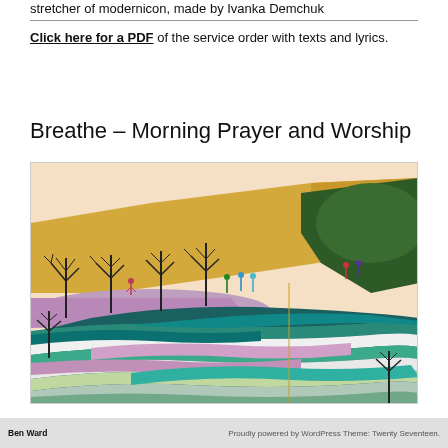stretcher of modernicon, made by Ivanka Demchuk
Click here for a PDF of the service order with texts and lyrics.
Breathe – Morning Prayer and Worship
[Figure (illustration): Colorful painting showing a landscape with bare trees, small human figures in a yellow/ochre field, and vibrant swirling layered patterns in teal, green, white, and purple in the lower portion, suggesting a flowing river or geological strata.]
Ben Ward   Proudly powered by WordPress Theme: Twenty Seventeen.